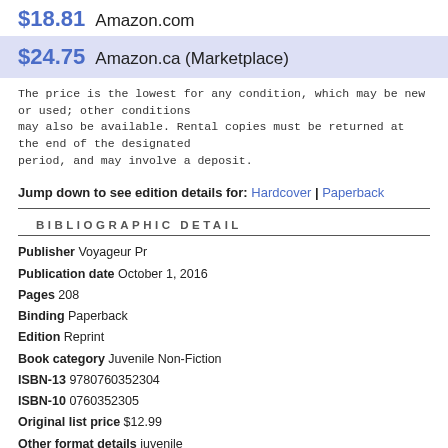$18.81  Amazon.com
$24.75  Amazon.ca (Marketplace)
The price is the lowest for any condition, which may be new or used; other conditions may also be available. Rental copies must be returned at the end of the designated period, and may involve a deposit.
Jump down to see edition details for: Hardcover | Paperback
BIBLIOGRAPHIC DETAIL
Publisher Voyageur Pr
Publication date October 1, 2016
Pages 208
Binding Paperback
Edition Reprint
Book category Juvenile Non-Fiction
ISBN-13 9780760352304
ISBN-10 0760352305
Original list price $12.99
Other format details juvenile
Subjects